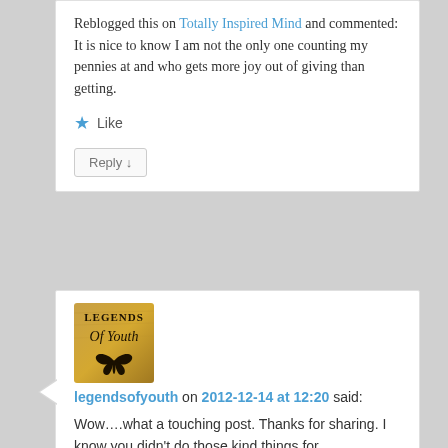Reblogged this on Totally Inspired Mind and commented: It is nice to know I am not the only one counting my pennies at and who gets more joy out of giving than getting.
★ Like
Reply ↓
[Figure (illustration): Avatar image for legendsofyouth, showing a golden/brown background with the text 'LEGENDS Of Youth' and a butterfly silhouette]
legendsofyouth on 2012-12-14 at 12:20 said:
Wow….what a touching post. Thanks for sharing. I know you didn't do those kind things for